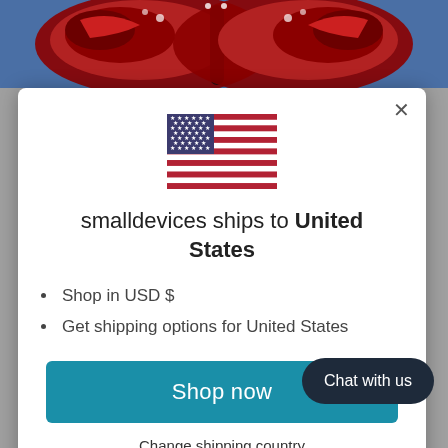[Figure (illustration): Red butterfly wings illustration on blue background, partially visible at top of page]
[Figure (illustration): US flag illustration centered in modal dialog]
smalldevices ships to United States
Shop in USD $
Get shipping options for United States
Shop now
Change shipping country
Chat with us
Search
Learning Resources